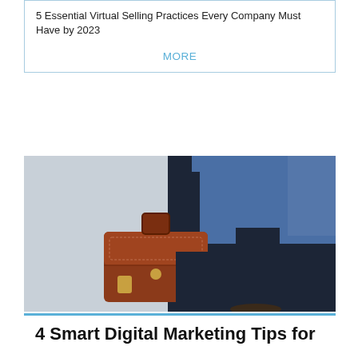5 Essential Virtual Selling Practices Every Company Must Have by 2023
MORE
[Figure (photo): Person in blue blazer and dark trousers walking briskly, carrying a brown leather briefcase. Cropped to show torso and legs, neutral grey background.]
4 Smart Digital Marketing Tips for